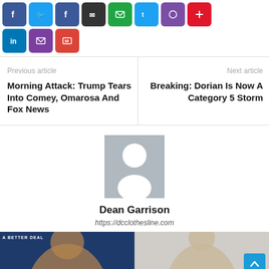[Figure (infographic): Row of social media share icon buttons: Facebook, Twitter, Facebook dark, Black/share, Green, Twitter light, Purple, Red]
[Figure (infographic): Second row of social share buttons: LinkedIn (blue), Email/envelope (purple), Gmail (red)]
Previous article
Morning Attack: Trump Tears Into Comey, Omarosa And Fox News
Next article
Breaking: Dorian Is Now A Category 5 Storm
[Figure (illustration): Default user avatar placeholder image (gray background with white person silhouette)]
Dean Garrison
https://dcclothesline.com
[Figure (photo): Two side-by-side images at bottom: left shows a person in front of A Better Deal banner (blue background), right shows another person in light background]